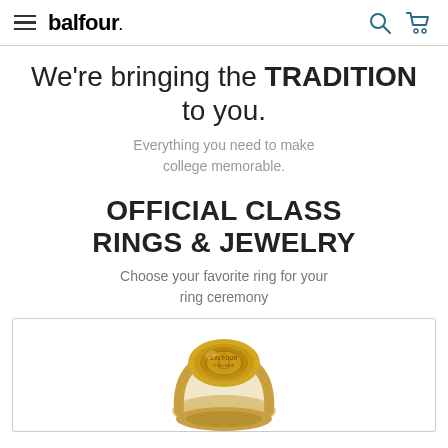balfour.
We're bringing the TRADITION to you.
Everything you need to make college memorable.
OFFICIAL CLASS RINGS & JEWELRY
Choose your favorite ring for your ring ceremony
[Figure (photo): Gold class ring partially visible at bottom of page]